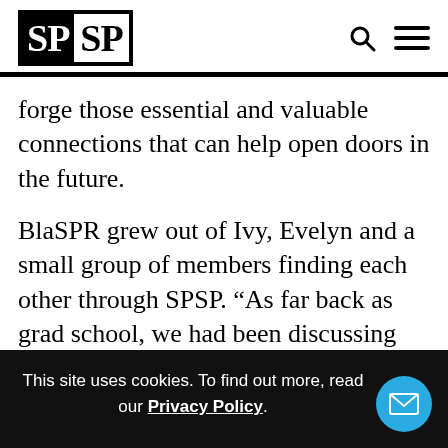SPSP
forge those essential and valuable connections that can help open doors in the future.
BlaSPR grew out of Ivy, Evelyn and a small group of members finding each other through SPSP. “As far back as grad school, we had been discussing the need
This site uses cookies. To find out more, read our Privacy Policy